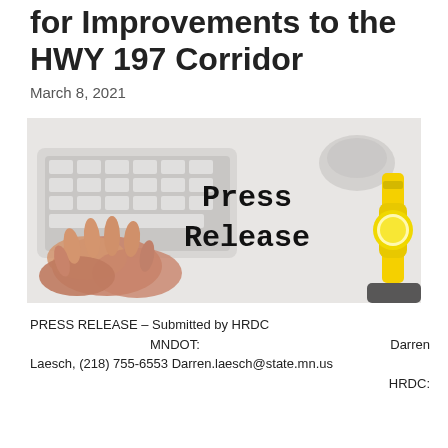for Improvements to the HWY 197 Corridor
March 8, 2021
[Figure (photo): Photo of hands typing on a white keyboard on a white desk, with a white mouse and yellow watch visible; large text reads 'Press Release' in bold serif font on the right side of the image.]
PRESS RELEASE – Submitted by HRDC MNDOT: Darren Laesch, (218) 755-6553 Darren.laesch@state.mn.us HRDC: